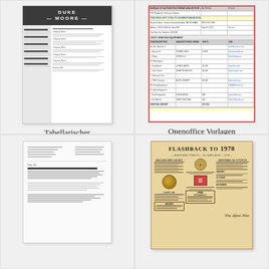[Figure (illustration): Thumbnail preview of a professional resume template with dark header showing 'DUKE MOORE', two-column layout with gray left sidebar]
Tabellarischer Lebenslauf Openoffice Frisch Openoffice Vorlage
[Figure (screenshot): Screenshot of an OpenOffice Calc spreadsheet with rows of data, red border, some blue hyperlink-style text]
Openoffice Vorlagen Download Beautiful Resume Templates for
[Figure (illustration): Thumbnail of a formal letter document with header contact information and body text paragraphs]
[Figure (illustration): Vintage-style 'FLASHBACK TO 1978' newspaper/poster with historical facts, coin image, stamp, and cursive signature]